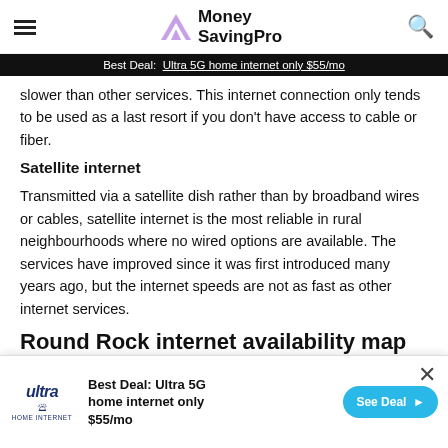Money SavingPro
Best Deal: Ultra 5G home internet only $55/mo
slower than other services. This internet connection only tends to be used as a last resort if you don't have access to cable or fiber.
Satellite internet
Transmitted via a satellite dish rather than by broadband wires or cables, satellite internet is the most reliable in rural neighbourhoods where no wired options are available. The services have improved since it was first introduced many years ago, but the internet speeds are not as fast as other internet services.
Round Rock internet availability map
[Figure (map): Partial view of Round Rock internet availability map]
Best Deal: Ultra 5G home internet only $55/mo